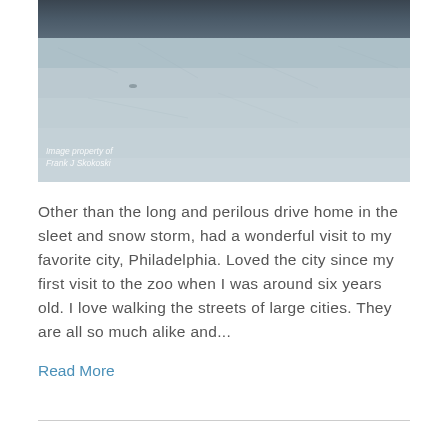[Figure (photo): Winter photograph of a frozen river or lake with buildings and houses visible along the far bank. The water surface appears frozen with ice. Text watermark reads 'Image property of Frank J Skokoski' in bottom left corner.]
Other than the long and perilous drive home in the sleet and snow storm, had a wonderful visit to my favorite city, Philadelphia. Loved the city since my first visit to the zoo when I was around six years old. I love walking the streets of large cities. They are all so much alike and...
Read More